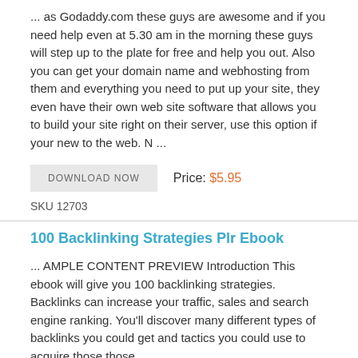... as Godaddy.com these guys are awesome and if you need help even at 5.30 am in the morning these guys will step up to the plate for free and help you out. Also you can get your domain name and webhosting from them and everything you need to put up your site, they even have their own web site software that allows you to build your site right on their server, use this option if your new to the web. N ...
DOWNLOAD NOW   Price: $5.95
SKU 12703
100 Backlinking Strategies Plr Ebook
... AMPLE CONTENT PREVIEW Introduction This ebook will give you 100 backlinking strategies. Backlinks can increase your traffic, sales and search engine ranking. You'll discover many different types of backlinks you could get and tactics you could use to acquire those those